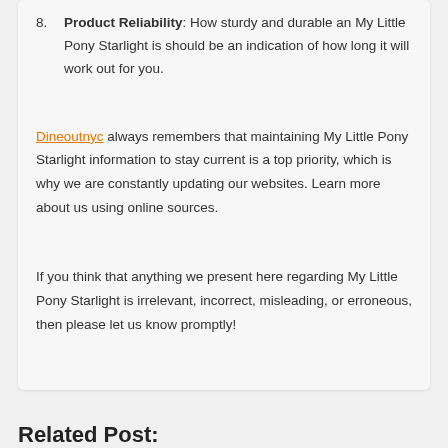8. Product Reliability: How sturdy and durable an My Little Pony Starlight is should be an indication of how long it will work out for you.
Dineoutnyc always remembers that maintaining My Little Pony Starlight information to stay current is a top priority, which is why we are constantly updating our websites. Learn more about us using online sources.
If you think that anything we present here regarding My Little Pony Starlight is irrelevant, incorrect, misleading, or erroneous, then please let us know promptly!
Related Post: